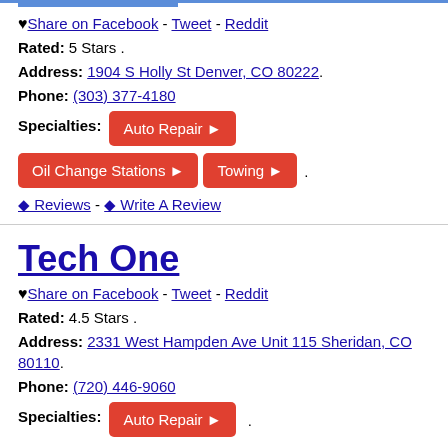♥ Share on Facebook - Tweet - Reddit
Rated: 5 Stars .
Address: 1904 S Holly St Denver, CO 80222.
Phone: (303) 377-4180
Specialties: Auto Repair  Oil Change Stations  Towing .
0 Reviews - 0 Write A Review
Tech One
♥ Share on Facebook - Tweet - Reddit
Rated: 4.5 Stars .
Address: 2331 West Hampden Ave Unit 115 Sheridan, CO 80110.
Phone: (720) 446-9060
Specialties: Auto Repair .